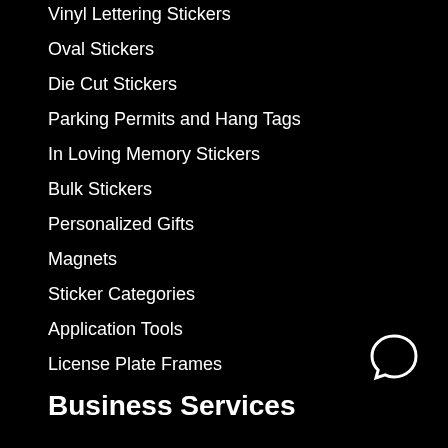Vinyl Lettering Stickers
Oval Stickers
Die Cut Stickers
Parking Permits and Hang Tags
In Loving Memory Stickers
Bulk Stickers
Personalized Gifts
Magnets
Sticker Categories
Application Tools
License Plate Frames
[Figure (illustration): White speech bubble / chat icon on black background, bottom right corner]
Business Services